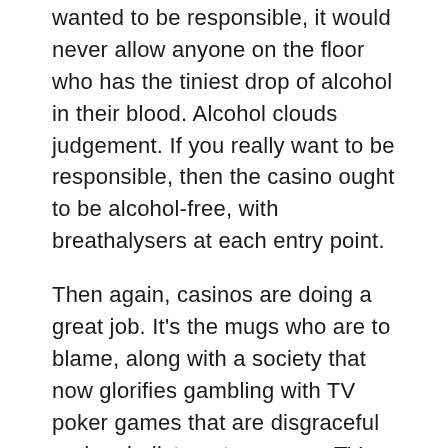wanted to be responsible, it would never allow anyone on the floor who has the tiniest drop of alcohol in their blood. Alcohol clouds judgement. If you really want to be responsible, then the casino ought to be alcohol-free, with breathalysers at each entry point.
Then again, casinos are doing a great job. It's the mugs who are to blame, along with a society that now glorifies gambling with TV poker games that are disgraceful and an indictment upon any TV network. Not to mention the socially corrupt concept of Celebrity TV poker championships. Ok, people can do what they want. Fine. But don't spin the 'responsible' casino rubbish.